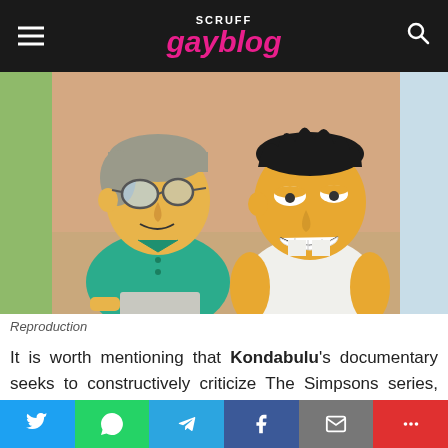SCRUFF gayblog
[Figure (illustration): Two Simpsons-style animated characters side by side. Left character is an older man with grey hair and round glasses wearing a teal polo shirt. Right character is a younger man with black hair wearing a white tank top, smiling broadly.]
Reproduction
It is worth mentioning that Kondabulu's documentary seeks to constructively criticize The Simpsons series, praising the subversion and the culture of the
Twitter | WhatsApp | Telegram | Facebook | Email | More